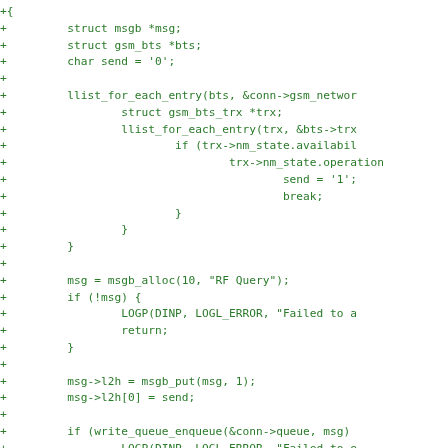+{
+         struct msgb *msg;
+         struct gsm_bts *bts;
+         char send = '0';
+
+         llist_for_each_entry(bts, &conn->gsm_networ
+                 struct gsm_bts_trx *trx;
+                 llist_for_each_entry(trx, &bts->trx
+                         if (trx->nm_state.availabil
+                                 trx->nm_state.operation
+                                         send = '1';
+                                         break;
+                         }
+                 }
+         }
+
+         msg = msgb_alloc(10, "RF Query");
+         if (!msg) {
+                 LOGP(DINP, LOGL_ERROR, "Failed to a
+                 return;
+         }
+
+         msg->l2h = msgb_put(msg, 1);
+         msg->l2h[0] = send;
+
+         if (write_queue_enqueue(&conn->queue, msg)
+                 LOGP(DINP, LOGL_ERROR, "Failed to e
+                 msgb_free(msg);
+                 return;
+         }